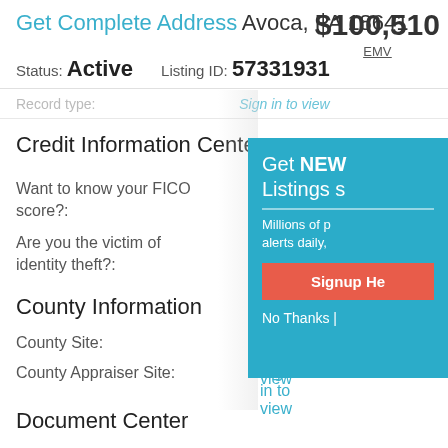Get Complete Address Avoca, PA 18641 $100,510 EMV
Status: Active   Listing ID: 57331931
Record type:   Sign in to view
Credit Information Center
Want to know your FICO score?:
Click here
Are you the victim of identity theft?:
Find out
County Information
County Site:   Sign in to view
County Appraiser Site:   Sign in to view
[Figure (screenshot): Popup overlay: Get NEW Listings s... Millions of p... alerts daily, ... Signup He... No Thanks |]
Document Center